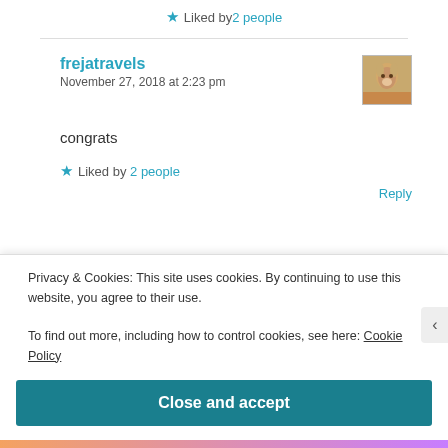★ Liked by 2 people
frejatravels
November 27, 2018 at 2:23 pm
congrats
★ Liked by 2 people
Reply
Privacy & Cookies: This site uses cookies. By continuing to use this website, you agree to their use.
To find out more, including how to control cookies, see here: Cookie Policy
Close and accept